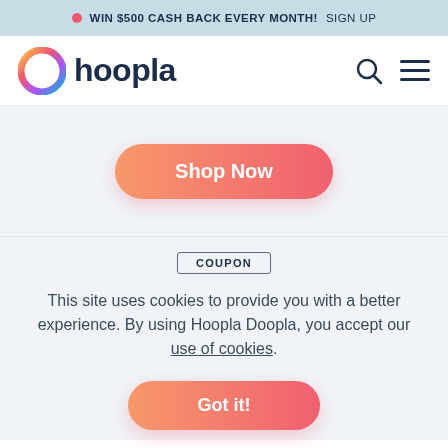WIN $500 CASH BACK EVERY MONTH! SIGN UP
[Figure (logo): Hoopla Doopla logo with colorful ring icon and dark blue 'hoopla' wordmark]
Shop Now
COUPON
This site uses cookies to provide you with a better experience. By using Hoopla Doopla, you accept our use of cookies.
Got it!